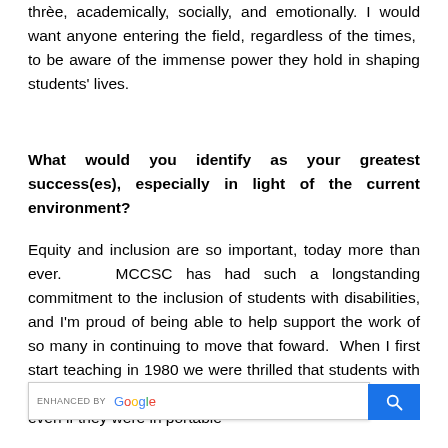thrée, academically, socially, and emotionally. I would want anyone entering the field, regardless of the times, to be aware of the immense power they hold in shaping students’ lives.
What would you identify as your greatest success(es), especially in light of the current environment?
Equity and inclusion are so important, today more than ever. MCCSC has had such a longstanding commitment to the inclusion of students with disabilities, and I’m proud of being able to help support the work of so many in continuing to move that foward. When I first start teaching in 1980 we were thrilled that students with disabilities were on the same campus with typical peers, even if they were in portable